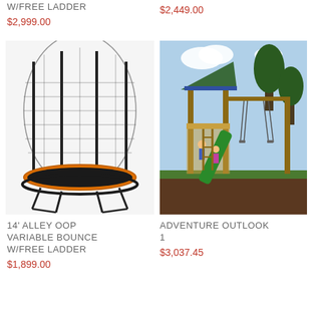W/FREE LADDER
$2,999.00
$2,449.00
[Figure (photo): Black trampoline with safety net enclosure on white background]
[Figure (photo): Wooden outdoor swing set/playset with green slide and children playing]
14' ALLEY OOP VARIABLE BOUNCE W/FREE LADDER
$1,899.00
ADVENTURE OUTLOOK 1
$3,037.45